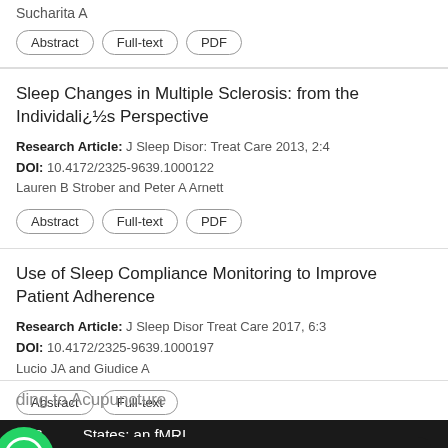Sucharita A
Abstract | Full-text | PDF
Sleep Changes in Multiple Sclerosis: from the Individualï¿½s Perspective
Research Article: J Sleep Disor: Treat Care 2013, 2:4
DOI: 10.4172/2325-9639.1000122
Lauren B Strober and Peter A Arnett
Abstract | Full-text | PDF
Use of Sleep Compliance Monitoring to Improve Patient Adherence
Research Article: J Sleep Disor Treat Care 2017, 6:3
DOI: 10.4172/2325-9639.1000197
Lucio JA and Giudice A
Abstract | Full-text
ding to Acupuncture
at S States: an fMRI